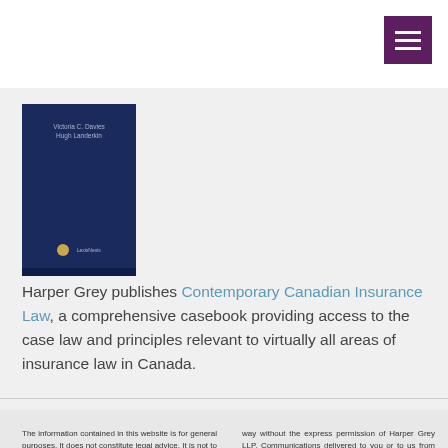[Figure (illustration): Dark navy blue book cover for 'Contemporary Canadian Insurance Law' published by LexisNexis, with small text and publisher logo at bottom]
Harper Grey publishes Contemporary Canadian Insurance Law, a comprehensive casebook providing access to the case law and principles relevant to virtually all areas of insurance law in Canada.
The information contained in this website is for general purposes. It does not constitute legal advice. It is not to be construed as a warranty, guarantee and should not be relied on as being accurate. Website is not to be reproduced in any way without the express permission of Harper Grey LLP. Communications delivered to you or to us from you through this website do not constitute a lawyer-client relationship. A lawyer-client relationship is only established by a formal retainer.